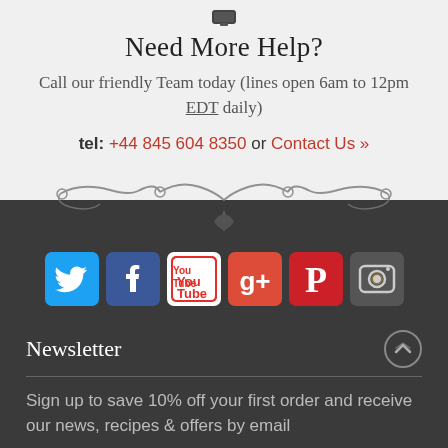[Figure (illustration): Small phone/device icon at top center]
Need More Help?
Call our friendly Team today (lines open 6am to 12pm EDT daily)
tel: +44 845 604 8350 or Contact Us »
[Figure (illustration): Decorative ornamental divider with scrollwork and a hop leaf motif, transitioning from light gray to dark background]
[Figure (infographic): Social media icon buttons: Twitter (blue bird), Facebook (blue f), YouTube (red/white), Google+ (red/white), Pinterest (red P), Instagram (camera icon)]
Newsletter
Sign up to save 10% off your first order and receive our news, recipes & offers by email